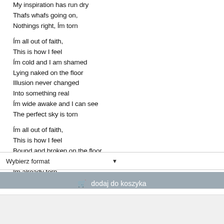My inspiration has run dry
Thafs whafs going on,
Nothings right, Ím torn

Ím all out of faith,
This is how I feel
Ím cold and I am shamed
Lying naked on the floor
Illusion never changed
Into something real
Ím wide awake and I can see
The perfect sky is torn

Ím all out of faith,
This is how I feel
Bound and broken on the floor
Yoúre a little late,
Ím already torn...
Wybierz format
dodaj do koszyka